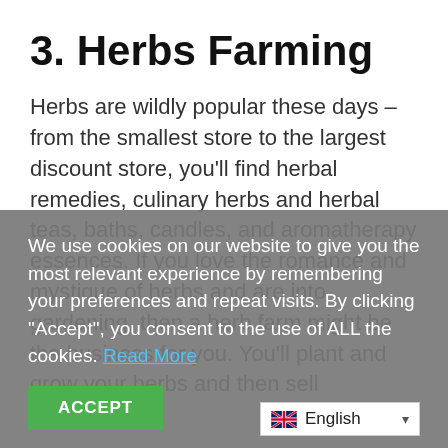3. Herbs Farming
Herbs are wildly popular these days – from the smallest store to the largest discount store, you'll find herbal remedies, culinary herbs and herbal teas, baths, candles, and aromatherapy essences. If you love the romance and mystique of herbs and are into gardening, then a herb farm might be the business for you. You'll plant and grow your herbs and then sell
We use cookies on our website to give you the most relevant experience by remembering your preferences and repeat visits. By clicking "Accept", you consent to the use of ALL the cookies. Read More
ACCEPT